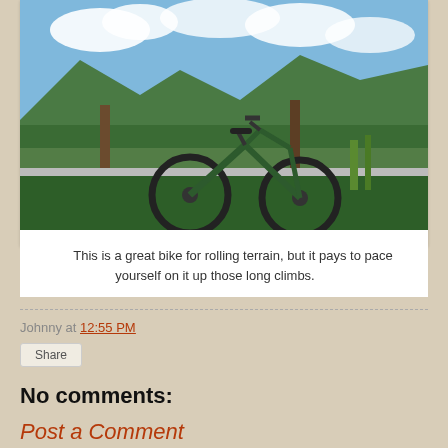[Figure (photo): Mountain bike leaning against a low wall or fence in front of lush green vegetation and mountains under a partly cloudy sky.]
This is a great bike for rolling terrain, but it pays to pace yourself on it up those long climbs.
Johnny at 12:55 PM
Share
No comments:
Post a Comment